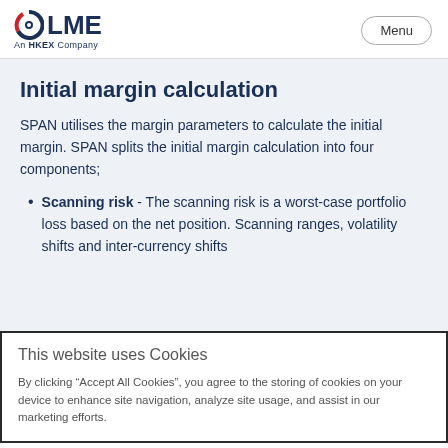LME - An HKEX Company | Menu
Initial margin calculation
SPAN utilises the margin parameters to calculate the initial margin. SPAN splits the initial margin calculation into four components;
Scanning risk - The scanning risk is a worst-case portfolio loss based on the net position. Scanning ranges, volatility shifts and inter-currency shifts
This website uses Cookies
By clicking “Accept All Cookies”, you agree to the storing of cookies on your device to enhance site navigation, analyze site usage, and assist in our marketing efforts.